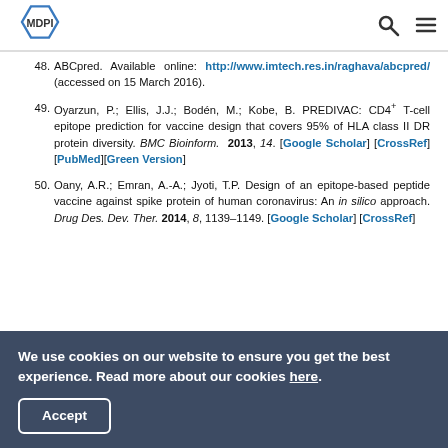MDPI
48. ABCpred. Available online: http://www.imtech.res.in/raghava/abcpred/ (accessed on 15 March 2016).
49. Oyarzun, P.; Ellis, J.J.; Bodén, M.; Kobe, B. PREDIVAC: CD4+ T-cell epitope prediction for vaccine design that covers 95% of HLA class II DR protein diversity. BMC Bioinform. 2013, 14. [Google Scholar] [CrossRef] [PubMed][Green Version]
50. Oany, A.R.; Emran, A.-A.; Jyoti, T.P. Design of an epitope-based peptide vaccine against spike protein of human coronavirus: An in silico approach. Drug Des. Dev. Ther. 2014, 8, 1139–1149. [Google Scholar] [CrossRef]
We use cookies on our website to ensure you get the best experience. Read more about our cookies here.